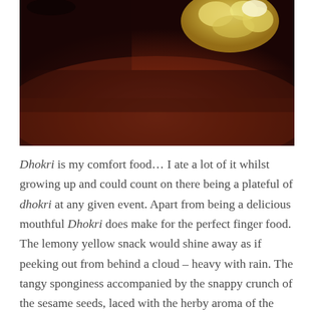[Figure (photo): Close-up photo of Dhokri (Indian savory snack), a yellow spongy food item with a lemony color, photographed against a dark reddish-brown background, with soft focus and moody lighting.]
Dhokri is my comfort food… I ate a lot of it whilst growing up and could count on there being a plateful of dhokri at any given event. Apart from being a delicious mouthful Dhokri does make for the perfect finger food. The lemony yellow snack would shine away as if peeking out from behind a cloud – heavy with rain. The tangy sponginess accompanied by the snappy crunch of the sesame seeds, laced with the herby aroma of the cilantro will have you salivating unapologetically.